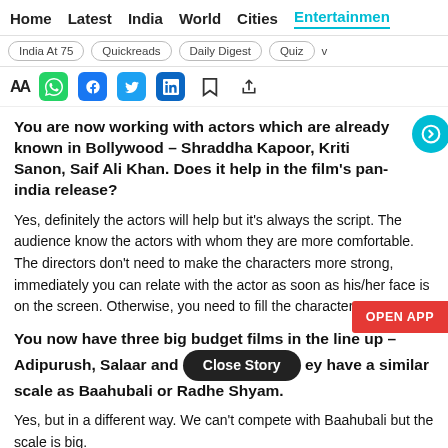Home  Latest  India  World  Cities  Entertainment
India At 75  Quickreads  Daily Digest  Quiz  v
You are now working with actors which are already known in Bollywood – Shraddha Kapoor, Kriti Sanon, Saif Ali Khan. Does it help in the film's pan-india release?
Yes, definitely the actors will help but it's always the script. The audience know the actors with whom they are more comfortable. The directors don't need to make the characters more strong, immediately you can relate with the actor as soon as his/her face is on the screen. Otherwise, you need to fill the character.
You now have three big budget films in the line up – Adipurush, Salaar and [Close Story] ey have a similar scale as Baahubali or Radhe Shyam.
Yes, but in a different way. We can't compete with Baahubali but the scale is big.